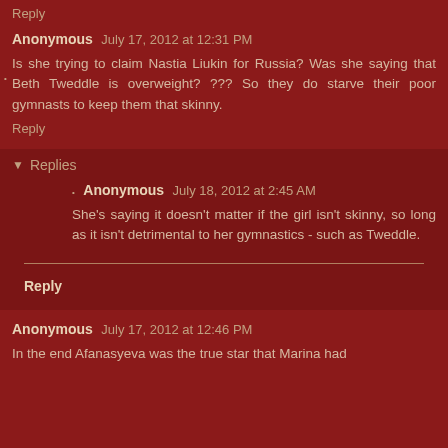Reply
Anonymous July 17, 2012 at 12:31 PM
Is she trying to claim Nastia Liukin for Russia? Was she saying that Beth Tweddle is overweight? ??? So they do starve their poor gymnasts to keep them that skinny.
Reply
Replies
Anonymous July 18, 2012 at 2:45 AM
She's saying it doesn't matter if the girl isn't skinny, so long as it isn't detrimental to her gymnastics - such as Tweddle.
Reply
Anonymous July 17, 2012 at 12:46 PM
In the end Afanasyeva was the true star that Marina had